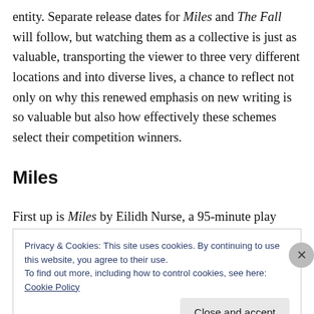entity. Separate release dates for Miles and The Fall will follow, but watching them as a collective is just as valuable, transporting the viewer to three very different locations and into diverse lives, a chance to reflect not only on why this renewed emphasis on new writing is so valuable but also how effectively these schemes select their competition winners.
Miles
First up is Miles by Eilidh Nurse, a 95-minute play about a
Privacy & Cookies: This site uses cookies. By continuing to use this website, you agree to their use.
To find out more, including how to control cookies, see here: Cookie Policy
Close and accept